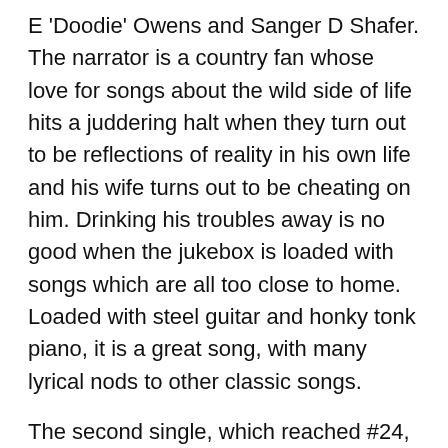E 'Doodie' Owens and Sanger D Shafer. The narrator is a country fan whose love for songs about the wild side of life hits a juddering halt when they turn out to be reflections of reality in his own life and his wife turns out to be cheating on him. Drinking his troubles away is no good when the jukebox is loaded with songs which are all too close to home. Loaded with steel guitar and honky tonk piano, it is a great song, with many lyrical nods to other classic songs.
The second single, which reached #24, was the same writers' 'Honky Tonk Amnesia'. Another solid honky tonker, with a bit of tongue in cheek in the lyrics, this one has the protagonist the one on the cheating side, fuelled by his heavy drinking:
She'd be hurt if she knew I was drinking